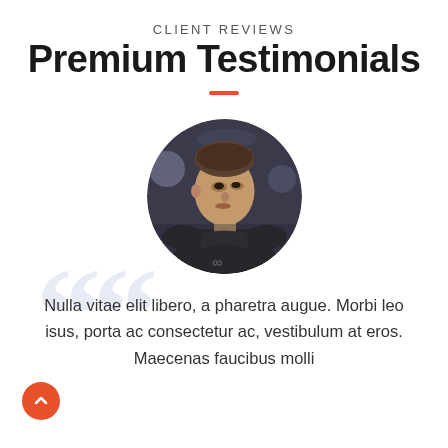CLIENT REVIEWS
Premium Testimonials
[Figure (photo): Circular portrait photo of a young athletic man in a dark t-shirt with an infinity logo, in a gym environment]
Nulla vitae elit libero, a pharetra augue. Morbi leo isus, porta ac consectetur ac, vestibulum at eros. Maecenas faucibus molli